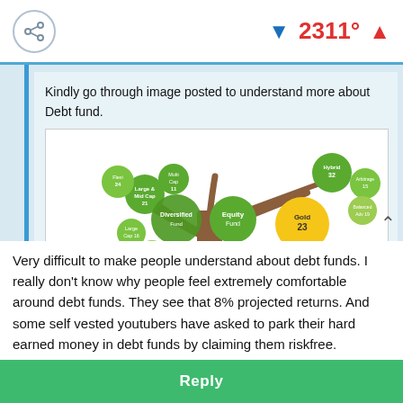2311°
Kindly go through image posted to understand more about Debt fund.
[Figure (infographic): A tree infographic showing mutual fund classification with branches for Equity, Hybrid, Gold, and Debt fund types. Green and yellow circles on branches represent different fund categories. Below the tree is a table titled 'Fund Classification' listing Equity, Debt, and Hybrid fund types with descriptions.]
Very difficult to make people understand about debt funds. I really don't know why people feel extremely comfortable around debt funds. They see that 8% projected returns. And some self vested youtubers have asked to park their hard earned money in debt funds by claiming them riskfree.
Reply